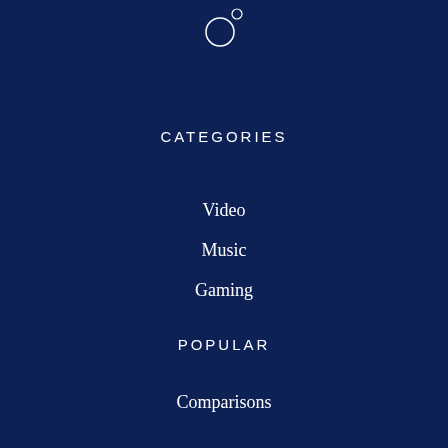[Figure (logo): Circle logo with degree symbol]
CATEGORIES
Video
Music
Gaming
POPULAR
Comparisons
Best of
Reviews
Guides
SITE